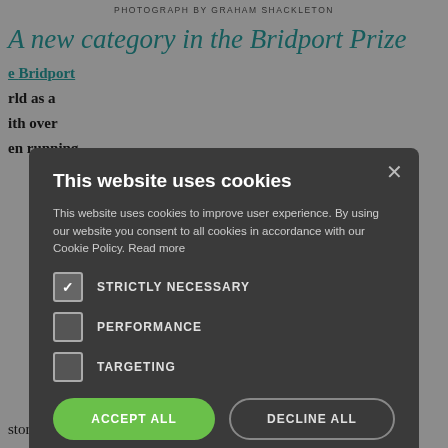PHOTOGRAPH BY GRAHAM SHACKLETON
A new category in the Bridport Prize
e Bridport rld as a ith over en running this year ovels. In vard for o the other nal ze.
success time love story that Jacqui had helped me to get started.
This website uses cookies

This website uses cookies to improve user experience. By using our website you consent to all cookies in accordance with our Cookie Policy. Read more

STRICTLY NECESSARY
PERFORMANCE
TARGETING

ACCEPT ALL    DECLINE ALL

SHOW DETAILS

POWERED BY COOKIE-SCRIPT